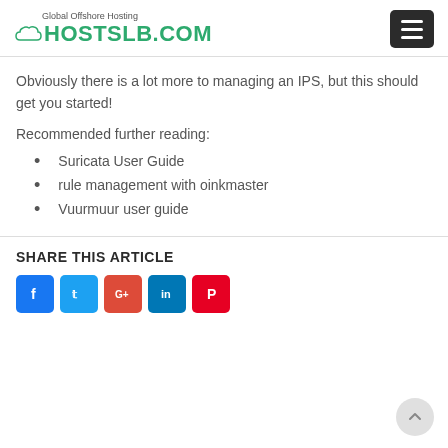Global Offshore Hosting HOSTSLB.COM
Obviously there is a lot more to managing an IPS, but this should get you started!
Recommended further reading:
Suricata User Guide
rule management with oinkmaster
Vuurmuur user guide
SHARE THIS ARTICLE